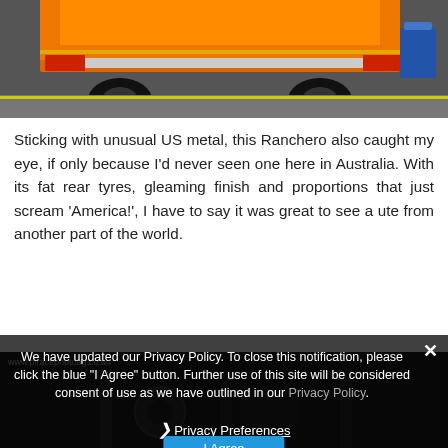[Figure (photo): Bottom portion of an orange classic car (Ranchero) on a showroom floor, with a blue container visible on the right and yellow floor markings]
Sticking with unusual US metal, this Ranchero also caught my eye, if only because I'd never seen one here in Australia. With its fat rear tyres, gleaming finish and proportions that just scream 'America!', I have to say it was great to see a ute from another part of the world.
[Figure (photo): Dark photo of a car engine bay or undercarriage in a dimly lit garage setting, with a watermark visible]
We have updated our Privacy Policy. To close this notification, please click the blue "I Agree" button. Further use of this site will be considered consent of use as we have outlined in our Privacy Policy.
❯ Privacy Preferences
I Agree